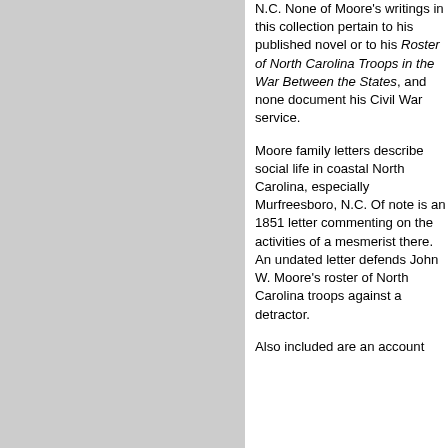N.C. None of Moore's writings in this collection pertain to his published novel or to his Roster of North Carolina Troops in the War Between the States, and none document his Civil War service.
Moore family letters describe social life in coastal North Carolina, especially Murfreesboro, N.C. Of note is an 1851 letter commenting on the activities of a mesmerist there. An undated letter defends John W. Moore's roster of North Carolina troops against a detractor.
Also included are an account